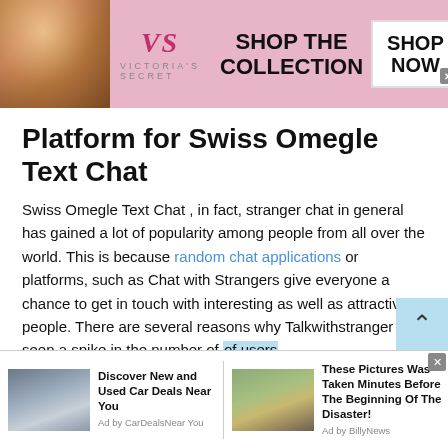[Figure (other): Victoria's Secret advertisement banner with model photo, VS logo, 'SHOP THE COLLECTION' text and 'SHOP NOW' button]
Platform for Swiss Omegle Text Chat
Swiss Omegle Text Chat , in fact, stranger chat in general has gained a lot of popularity among people from all over the world. This is because random chat applications or platforms, such as Chat with Strangers give everyone a chance to get in touch with interesting as well as attractive people. There are several reasons why Talkwithstranger has seen a spike in the number of users on our platform. The developers of this platform aim to:
[Figure (other): Bottom advertisement bar with two ads: 'Discover New and Used Car Deals Near You' by CarDealsNearYou, and 'These Pictures Was Taken Minutes Before The Beginning Of The Disaster!' by BillyNews]